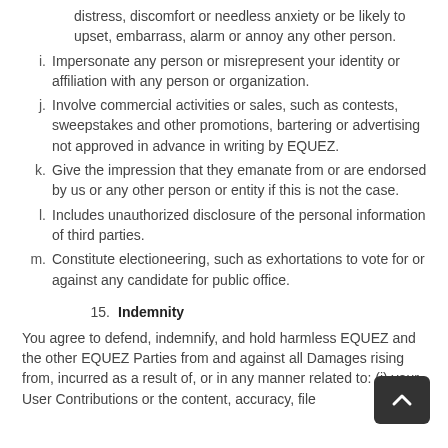i. Impersonate any person or misrepresent your identity or affiliation with any person or organization.
j. Involve commercial activities or sales, such as contests, sweepstakes and other promotions, bartering or advertising not approved in advance in writing by EQUEZ.
k. Give the impression that they emanate from or are endorsed by us or any other person or entity if this is not the case.
l. Includes unauthorized disclosure of the personal information of third parties.
m. Constitute electioneering, such as exhortations to vote for or against any candidate for public office.
15. Indemnity
You agree to defend, indemnify, and hold harmless EQUEZ and the other EQUEZ Parties from and against all Damages rising from, incurred as a result of, or in any manner related to: (i) your User Contributions or the content, accuracy, file...